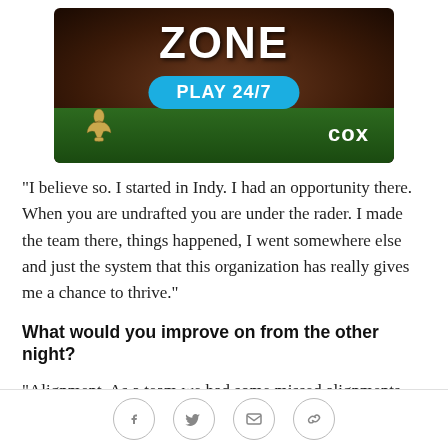[Figure (illustration): Cox Sports advertisement banner showing a football texture background, text 'ZONE' in large letters, a blue 'PLAY 24/7' button, a New Orleans Saints fleur-de-lis logo on the bottom left, and 'cox' text in white on the bottom right over a green grass field.]
"I believe so. I started in Indy. I had an opportunity there. When you are undrafted you are under the rader. I made the team there, things happened, I went somewhere else and just the system that this organization has really gives me a chance to thrive."
What would you improve on from the other night?
"Alignment. As a team we had some missed alignments and missed coverages. Just like things like that. Pretty much paying attention to details are what we need to
Social share buttons: Facebook, Twitter, Email, Link